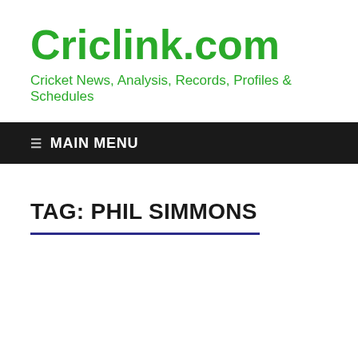Criclink.com
Cricket News, Analysis, Records, Profiles & Schedules
☰  MAIN MENU
TAG: PHIL SIMMONS